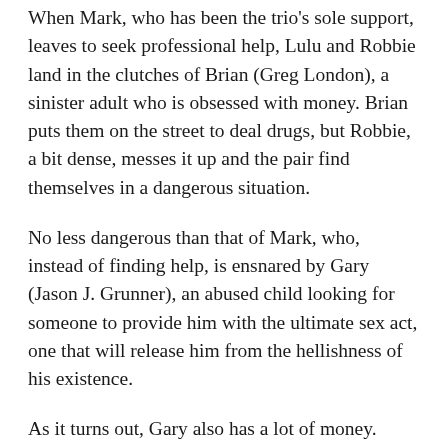When Mark, who has been the trio’s sole support, leaves to seek professional help, Lulu and Robbie land in the clutches of Brian (Greg London), a sinister adult who is obsessed with money. Brian puts them on the street to deal drugs, but Robbie, a bit dense, messes it up and the pair find themselves in a dangerous situation.
No less dangerous than that of Mark, who, instead of finding help, is ensnared by Gary (Jason J. Grunner), an abused child looking for someone to provide him with the ultimate sex act, one that will release him from the hellishness of his existence.
As it turns out, Gary also has a lot of money. When Mark introduces the boy to Robbie and Lulu, the stage is set for tragedy.
The ending may be predictable, but, in getting there, Ravenhill provides a chilling look into the lives of disaffected youth. These people are desperate for some authority figure to tell